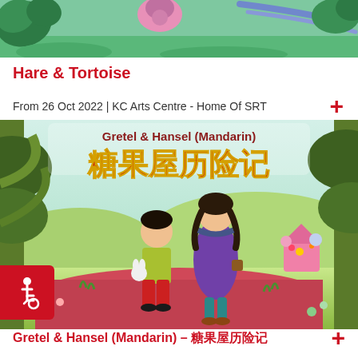[Figure (illustration): Top portion of illustrated image showing colorful animated/illustrated scene with leaves, flowers, and stylized characters in purple and pink tones with a blue arrow/scarf element]
Hare & Tortoise
From 26 Oct 2022 | KC Arts Centre - Home Of SRT
[Figure (illustration): Illustrated poster for Gretel & Hansel (Mandarin) / 糖果屋历险记 showing two animated children characters in a forest setting with a candy house in background. Text at top reads 'Gretel & Hansel (Mandarin)' in bold and '糖果屋历险记' in large red/gold Chinese characters.]
Gretel & Hansel (Mandarin) – 糖果屋历险记